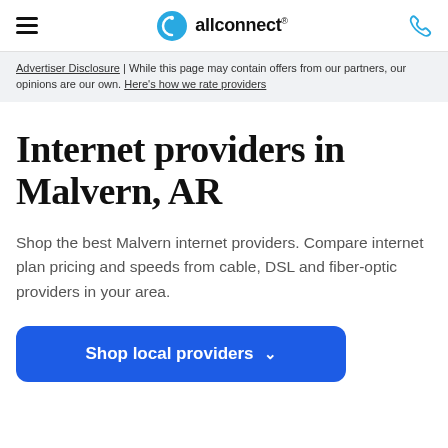allconnect®
Advertiser Disclosure | While this page may contain offers from our partners, our opinions are our own. Here's how we rate providers
Internet providers in Malvern, AR
Shop the best Malvern internet providers. Compare internet plan pricing and speeds from cable, DSL and fiber-optic providers in your area.
Shop local providers